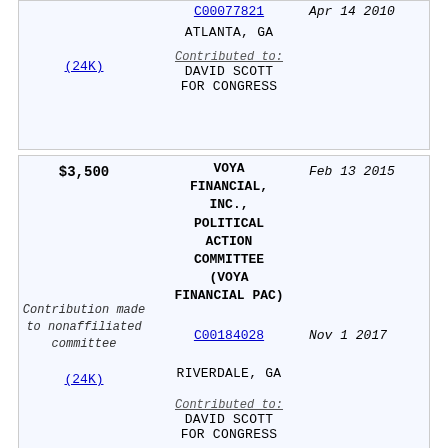| Amount/Notes | Organization | Date/Details |
| --- | --- | --- |
| (24K) | C00077821
ATLANTA, GA
Contributed to:
DAVID SCOTT FOR CONGRESS | Apr 14 2010 |
| $3,500
Contribution made to nonaffiliated committee
(24K) | VOYA FINANCIAL, INC., POLITICAL ACTION COMMITTEE (VOYA FINANCIAL PAC)
C00184028
RIVERDALE, GA
Contributed to:
DAVID SCOTT FOR CONGRESS | Feb 13 2015
Nov 1 2017 |